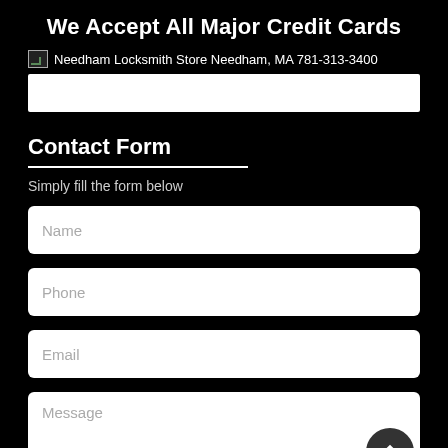We Accept All Major Credit Cards
[Figure (logo): Broken image icon followed by text: Needham Locksmith Store Needham, MA 781-313-3400]
[Figure (other): White horizontal bar representing credit card logos/images]
Contact Form
Simply fill the form below
Name
Phone
Email
Message